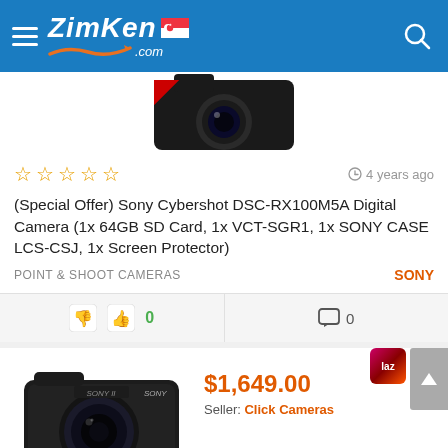ZimKen.com
[Figure (photo): Sony camera photo partially visible at top of first card]
☆☆☆☆☆   4 years ago
(Special Offer) Sony Cybershot DSC-RX100M5A Digital Camera (1x 64GB SD Card, 1x VCT-SGR1, 1x SONY CASE LCS-CSJ, 1x Screen Protector)
POINT & SHOOT CAMERAS   SONY
👎 👍 0   💬 0
$1,649.00
Seller: Click Cameras
[Figure (photo): Sony compact camera (DSC-RX100 series) product photo]
★★★★★   4 years ago
(NEW ARRIVAL) Sony Cybershot DSC-RX100M6 Digital